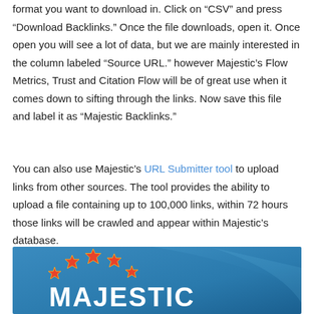format you want to download in. Click on “CSV” and press “Download Backlinks.” Once the file downloads, open it. Once open you will see a lot of data, but we are mainly interested in the column labeled “Source URL.” however Majestic’s Flow Metrics, Trust and Citation Flow will be of great use when it comes down to sifting through the links. Now save this file and label it as “Majestic Backlinks.”
You can also use Majestic's URL Submitter tool to upload links from other sources. The tool provides the ability to upload a file containing up to 100,000 links, within 72 hours those links will be crawled and appear within Majestic's database.
[Figure (logo): Majestic logo on a blue background with orange/red stars arranged in an arc above the word MAJESTIC in white bold text]